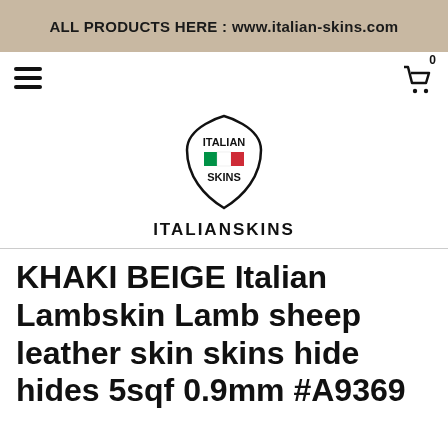ALL PRODUCTS HERE : www.italian-skins.com
[Figure (logo): Italian Skins leather brand logo — shield shape outline with 'ITALIAN' text on top, Italian flag (green-white-red) in center, and 'SKINS' text below]
ITALIANSKINS
KHAKI BEIGE Italian Lambskin Lamb sheep leather skin skins hide hides 5sqf 0.9mm #A9369